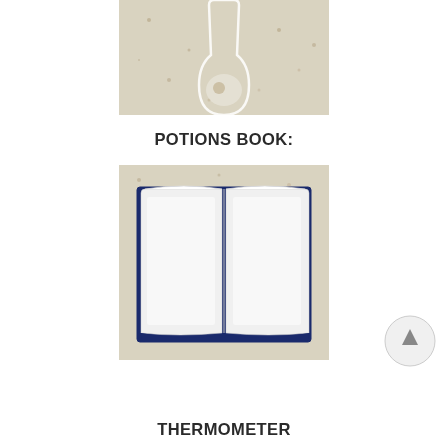[Figure (illustration): A glass flask/round-bottom flask illustration on a beige speckled background, partially cropped at top]
POTIONS BOOK:
[Figure (illustration): An open book illustration with white pages and dark navy blue border/cover, on a beige speckled background]
THERMOMETER